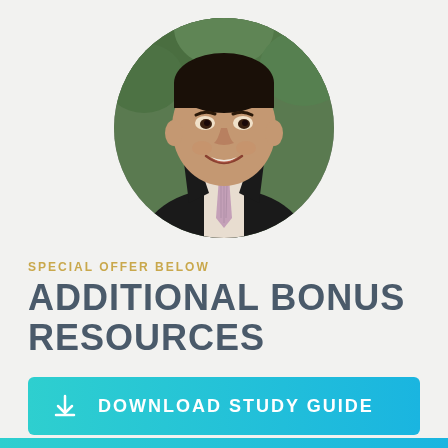[Figure (photo): Circular cropped headshot photo of a smiling middle-aged Asian man wearing a dark blazer and pink/lavender striped tie, with green foliage in the background.]
SPECIAL OFFER BELOW
ADDITIONAL BONUS RESOURCES
DOWNLOAD STUDY GUIDE